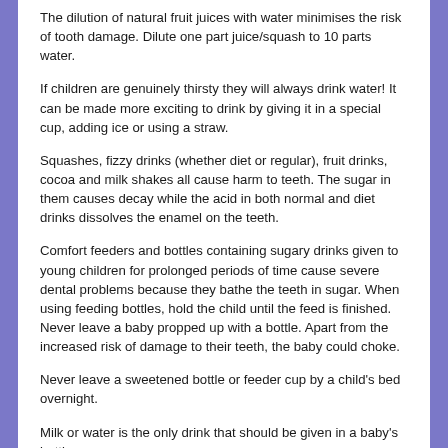The dilution of natural fruit juices with water minimises the risk of tooth damage. Dilute one part juice/squash to 10 parts water.
If children are genuinely thirsty they will always drink water! It can be made more exciting to drink by giving it in a special cup, adding ice or using a straw.
Squashes, fizzy drinks (whether diet or regular), fruit drinks, cocoa and milk shakes all cause harm to teeth. The sugar in them causes decay while the acid in both normal and diet drinks dissolves the enamel on the teeth.
Comfort feeders and bottles containing sugary drinks given to young children for prolonged periods of time cause severe dental problems because they bathe the teeth in sugar. When using feeding bottles, hold the child until the feed is finished. Never leave a baby propped up with a bottle. Apart from the increased risk of damage to their teeth, the baby could choke.
Never leave a sweetened bottle or feeder cup by a child's bed overnight.
Milk or water is the only drink that should be given in a baby's bottle.